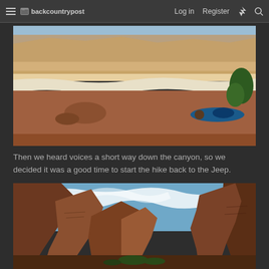backcountrypost | Log in | Register
[Figure (photo): Person lying on red canyon floor photographing layered sandstone formations and red rock walls in a desert canyon]
Then we heard voices a short way down the canyon, so we decided it was a good time to start the hike back to the Jeep.
[Figure (photo): Looking up at dramatic red rock canyon walls with blue sky and wispy clouds above, canyon landscape view]